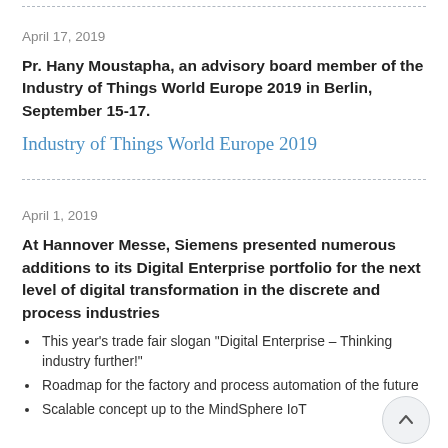April 17, 2019
Pr. Hany Moustapha, an advisory board member of the Industry of Things World Europe 2019 in Berlin, September 15-17.
Industry of Things World Europe 2019
April 1, 2019
At Hannover Messe, Siemens presented numerous additions to its Digital Enterprise portfolio for the next level of digital transformation in the discrete and process industries
This year's trade fair slogan "Digital Enterprise – Thinking industry further!"
Roadmap for the factory and process automation of the future
Scalable concept up to the MindSphere IoT